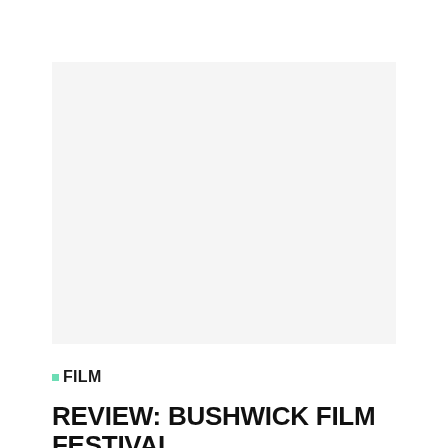[Figure (photo): Large placeholder image area with light gray background, representing a photo or image associated with the Bushwick Film Festival review article.]
■FILM
REVIEW: BUSHWICK FILM FESTIVAL